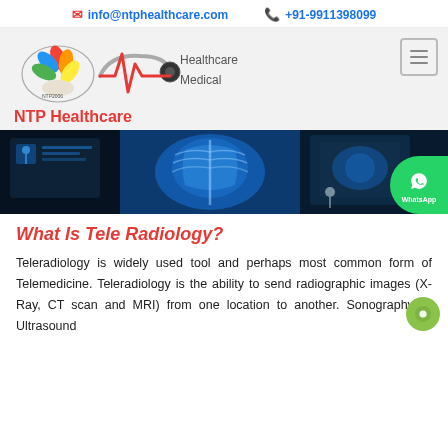✉ info@ntphealthcare.com   📞 +91-9911398099
[Figure (logo): NTP Healthcare logo with colorful leaf/hand icon and ECG line with stethoscope. Text: Healthcare, Medical, NTP Healthcare]
[Figure (photo): Medical/radiology hero banner showing a chest X-ray image in blue tones with a person silhouette and digital screens. WhatsApp button overlay in green.]
What Is Tele Radiology?
Teleradiology is widely used tool and perhaps most common form of Telemedicine. Teleradiology is the ability to send radiographic images (X-Ray, CT scan and MRI) from one location to another. Sonography or Ultrasound